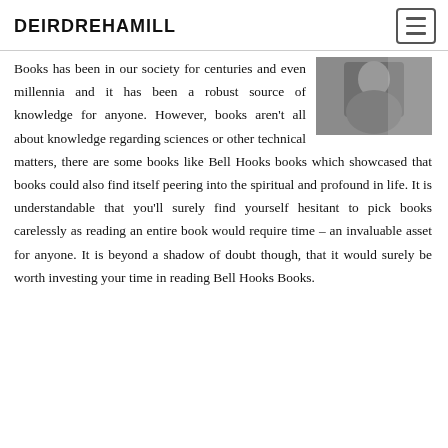DEIRDREHAMILL
[Figure (photo): Black and white photograph of a woman, partially visible in upper right area]
Books has been in our society for centuries and even millennia and it has been a robust source of knowledge for anyone. However, books aren't all about knowledge regarding sciences or other technical matters, there are some books like Bell Hooks books which showcased that books could also find itself peering into the spiritual and profound in life. It is understandable that you'll surely find yourself hesitant to pick books carelessly as reading an entire book would require time – an invaluable asset for anyone. It is beyond a shadow of doubt though, that it would surely be worth investing your time in reading Bell Hooks Books.